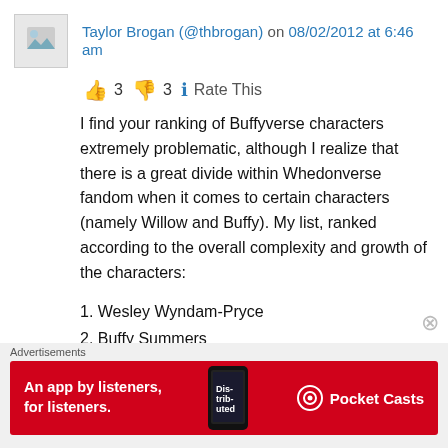Taylor Brogan (@thbrogan) on 08/02/2012 at 6:46 am
👍 3 👎 3 ℹ Rate This
I find your ranking of Buffyverse characters extremely problematic, although I realize that there is a great divide within Whedonverse fandom when it comes to certain characters (namely Willow and Buffy). My list, ranked according to the overall complexity and growth of the characters:
1. Wesley Wyndam-Pryce
2. Buffy Summers
Advertisements
[Figure (infographic): Red advertisement banner for Pocket Casts app: 'An app by listeners, for listeners.' with phone image and Pocket Casts logo]